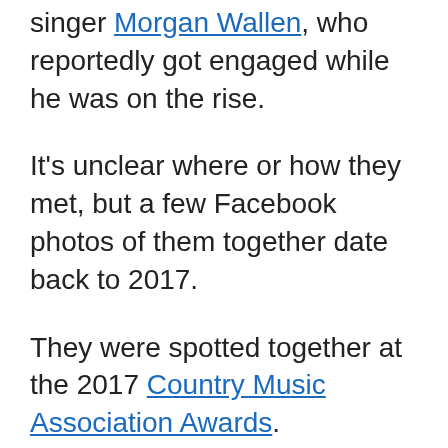singer Morgan Wallen, who reportedly got engaged while he was on the rise.
It's unclear where or how they met, but a few Facebook photos of them together date back to 2017.
They were spotted together at the 2017 Country Music Association Awards.
Katie and Morgan reportedly split up, and fans speculated that his song Chasin' You was about someone in particular.